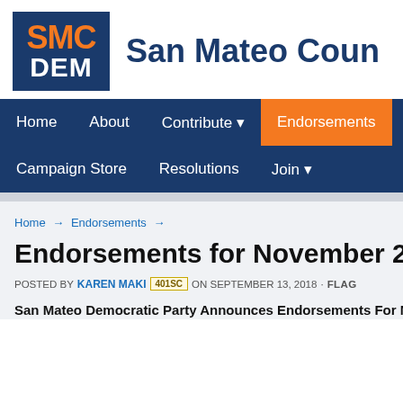[Figure (logo): SMC DEM logo: dark blue square with orange SMC text and white DEM text]
San Mateo Coun
[Figure (screenshot): Website navigation bar with items: Home, About, Contribute, Endorsements (active/orange), Voting, Campaign Store, Resolutions, Join]
Home → Endorsements →
Endorsements for November 2018 E
POSTED BY KAREN MAKI 401SC ON SEPTEMBER 13, 2018 · FLAG
San Mateo Democratic Party Announces Endorsements For Nov